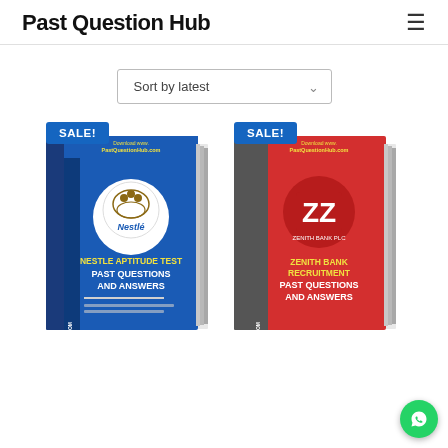Past Question Hub
Sort by latest
[Figure (illustration): Book cover: Nestle Aptitude Test Past Questions and Answers. Blue cover with Nestle logo on white circle. Text: NESTLE APTITUDE TEST PAST QUESTIONS AND ANSWERS. SALE! badge in blue.]
[Figure (illustration): Book cover: Zenith Bank Recruitment Past Questions and Answers. Red cover with ZZ Zenith Bank logo. Text: ZENITH BANK RECRUITMENT PAST QUESTIONS AND ANSWERS. SALE! badge in blue.]